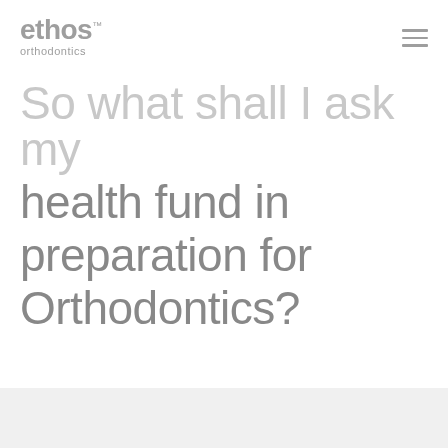ethos™ orthodontics
So what shall I ask my health fund in preparation for Orthodontics?